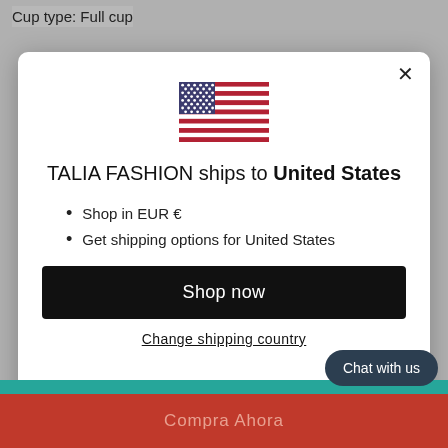Cup type: Full cup
[Figure (illustration): US flag emoji / icon in the modal]
TALIA FASHION ships to United States
Shop in EUR €
Get shipping options for United States
Shop now
Change shipping country
Chat with us
Compra Ahora